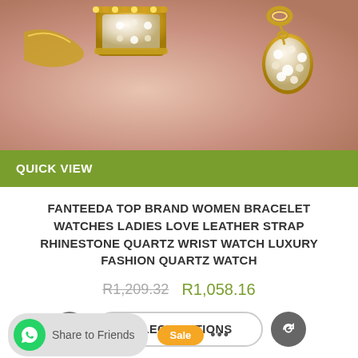[Figure (photo): Close-up photo of gold and rhinestone jewelry/bracelet watch on a pink/skin-toned background]
QUICK VIEW
FANTEEDA TOP BRAND WOMEN BRACELET WATCHES LADIES LOVE LEATHER STRAP RHINESTONE QUARTZ WRIST WATCH LUXURY FASHION QUARTZ WATCH
R1,209.32  R1,058.16
SELECT OPTIONS
Share to Friends
Sale